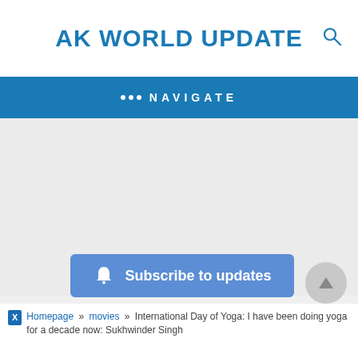AK WORLD UPDATE
••• NAVIGATE
[Figure (other): Large empty grey content area (advertisement placeholder)]
Subscribe to updates
Homepage » movies » International Day of Yoga: I have been doing yoga for a decade now: Sukhwinder Singh